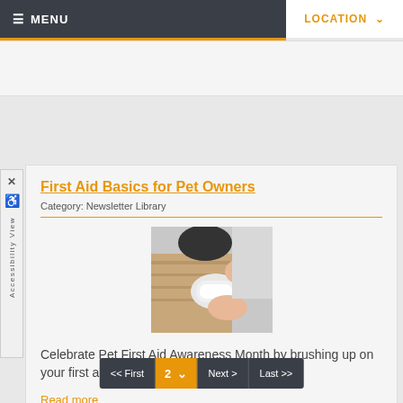≡ MENU   LOCATION ˅
First Aid Basics for Pet Owners
Category: Newsletter Library
[Figure (photo): Close-up photo of hands wrapping a white bandage around what appears to be a pet leg or paw, with a wooden surface in the background.]
Celebrate Pet First Aid Awareness Month by brushing up on your first aid skills!
Read more
<< First  2 ˅  Next >  Last >>